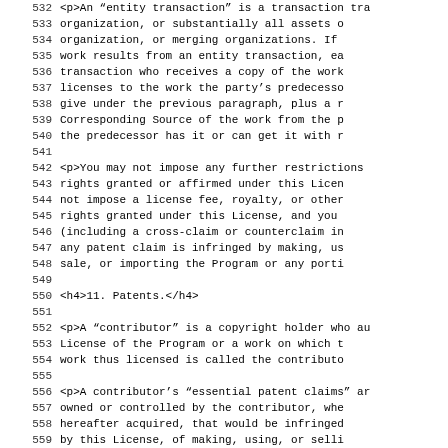532  <p>An "entity transaction" is a transaction tra
533      organization, or substantially all assets o
534      organization, or merging organizations.  If
535      work results from an entity transaction, ea
536      transaction who receives a copy of the work
537      licenses to the work the party's predecesso
538      give under the previous paragraph, plus a r
539      Corresponding Source of the work from the p
540      the predecessor has it or can get it with r
541
542  <p>You may not impose any further restrictions
543      rights granted or affirmed under this Licen
544      not impose a license fee, royalty, or other
545      rights granted under this License, and you
546      (including a cross-claim or counterclaim in
547      any patent claim is infringed by making, us
548      sale, or importing the Program or any porti
549
550  <h4>11. Patents.</h4>
551
552  <p>A "contributor" is a copyright holder who au
553      License of the Program or a work on which t
554      work thus licensed is called the contributo
555
556  <p>A contributor's "essential patent claims" ar
557      owned or controlled by the contributor, whe
558      hereafter acquired, that would be infringed
559      by this License, of making, using, or selli
560      but do not include claims that would be inf
561      consequence of further modification of the
562      purposes of this definition, "control" incl
563      patent sublicenses in a manner consistent